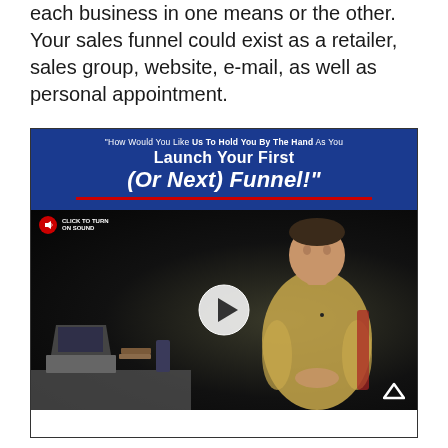each business in one means or the other. Your sales funnel could exist as a retailer, sales group, website, e-mail, as well as personal appointment.
[Figure (screenshot): A video thumbnail/screenshot showing a promotional banner with blue background reading 'How Would You Like Us To Hold You By The Hand As You Launch Your First (Or Next) Funnel!' with a red underline, and below it a dark video frame showing a man in a yellow shirt sitting at a desk with a laptop, with a large play button in the center and a 'Click to turn on sound' button in the top left corner.]